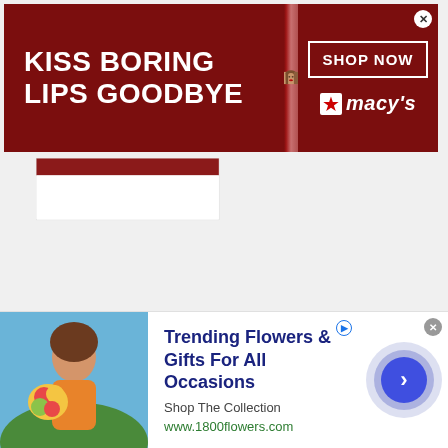[Figure (infographic): Macy's advertisement banner: 'KISS BORING LIPS GOODBYE' with a woman model with red lipstick, 'SHOP NOW' button, and Macy's star logo]
[Figure (infographic): Partial content area with dark red/maroon header bar and white content space below, bordered box]
[Figure (infographic): 1800flowers.com advertisement: 'Trending Flowers & Gifts For All Occasions', 'Shop The Collection', 'www.1800flowers.com', with woman holding flowers image and blue circular CTA button with arrow]